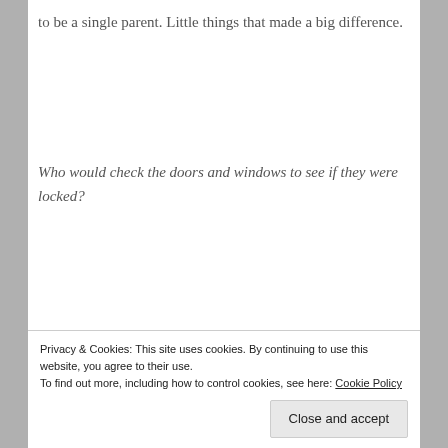to be a single parent. Little things that made a big difference.
Who would check the doors and windows to see if they were locked?
Who would check to see if their passports were with
Privacy & Cookies: This site uses cookies. By continuing to use this website, you agree to their use.
To find out more, including how to control cookies, see here: Cookie Policy
Close and accept